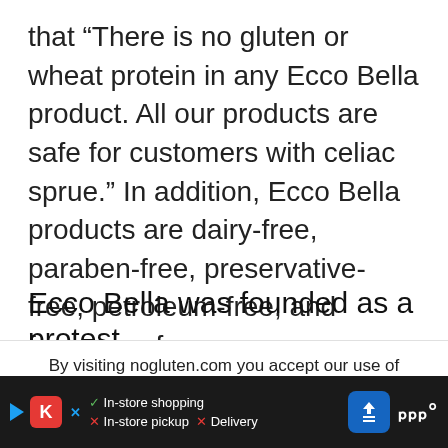that “There is no gluten or wheat protein in any Ecco Bella product. All our products are safe for customers with celiac sprue.” In addition, Ecco Bella products are dairy-free, paraben-free, preservative-free, petroleum-free, and fragrance-free.
Ecco Bella was founded as a protest
By visiting nogluten.com you accept our use of cookies and agree to our privacy policy.
from organics and nutraceuticals. As an
In-store shopping  In-store pickup  Delivery